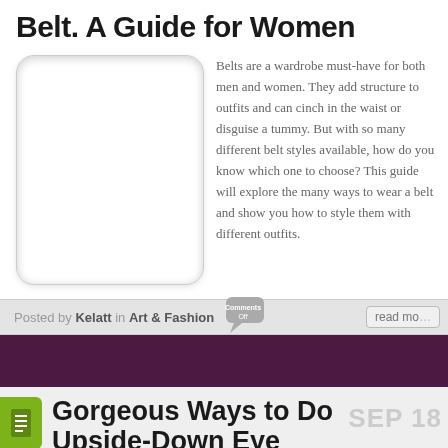Belt. A Guide for Women
[Figure (photo): Placeholder image box with rounded corners and inset shadow]
Belts are a wardrobe must-have for both men and women. They add structure to outfits and can cinch in the waist or disguise a tummy. But with so many different belt styles available, how do you know which one to choose? This guide will explore the many ways to wear a belt and show you how to style them with different outfits.
Posted by Kelatt in Art & Fashion  Comments Off  read mo...
Gorgeous Ways to Do Upside-Down Eye Makeup